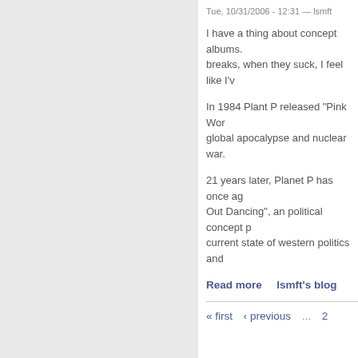Tue, 10/31/2006 - 12:31 — lsmft
I have a thing about concept albums. breaks, when they suck, I feel like I'v
In 1984 Plant P released "Pink Wor global apocalypse and nuclear war.
21 years later, Planet P has once ag Out Dancing", an political concept p current state of western politics and
Read more   lsmft's blog
« first   ‹ previous   ...   2